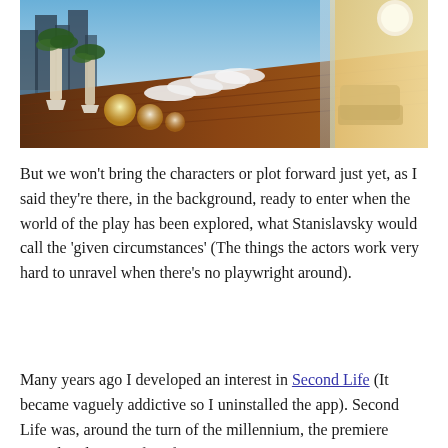[Figure (photo): A luxury rooftop terrace with wooden decking, white lounge furniture, large potted plants, glowing spherical lights, and a city skyline with water in the background. Interior space visible on the right with warm lighting.]
But we won't bring the characters or plot forward just yet, as I said they're there, in the background, ready to enter when the world of the play has been explored, what Stanislavsky would call the 'given circumstances' (The things the actors work very hard to unravel when there's no playwright around).
Many years ago I developed an interest in Second Life (It became vaguely addictive so I uninstalled the app). Second Life was, around the turn of the millennium, the premiere virtual reality interface for